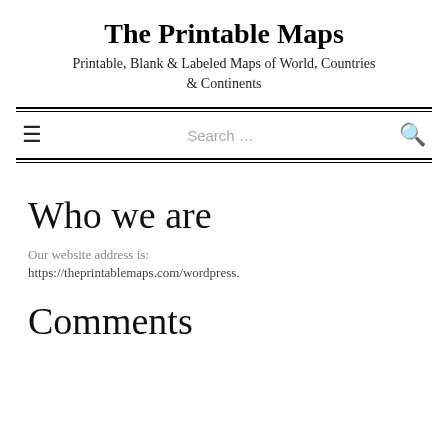The Printable Maps
Printable, Blank & Labeled Maps of World, Countries & Continents
Search ...
Who we are
Our website address is: https://theprintablemaps.com/wordpress.
Comments